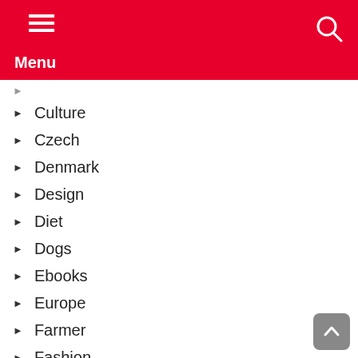Menu
Culture
Czech
Denmark
Design
Diet
Dogs
Ebooks
Europe
Farmer
Fashion
Finance
Fishing
Fitness
Food & Cooking
Football
France
Games
Geography
German
Golf